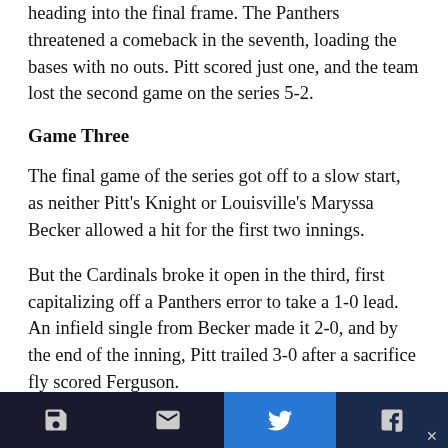heading into the final frame. The Panthers threatened a comeback in the seventh, loading the bases with no outs. Pitt scored just one, and the team lost the second game on the series 5-2.
Game Three
The final game of the series got off to a slow start, as neither Pitt's Knight or Louisville's Maryssa Becker allowed a hit for the first two innings.
But the Cardinals broke it open in the third, first capitalizing off a Panthers error to take a 1-0 lead. An infield single from Becker made it 2-0, and by the end of the inning, Pitt trailed 3-0 after a sacrifice fly scored Ferguson.
The Panthers struck back in the top of the fourth,